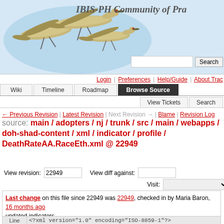[Figure (screenshot): IBIS-PH Community of Practice website header with flying cranes/birds image and site title]
IBIS-PH Community of Pra[ctice]
Login | Preferences | Help/Guide | About Trac
Wiki | Timeline | Roadmap | Browse Source | View Tickets | Search
← Previous Revision | Latest Revision | Next Revision → | Blame | Revision Log
source: main / adopters / nj / trunk / src / main / webapps / doh-shad-content / xml / indicator / profile / DeathRateAA.RaceEth.xml @ 22949
View revision: 22949    View diff against:
Visit:
Last change on this file since 22949 was 22949, checked in by Maria Baron, 16 months ago
updated indicators
File size: 9.1 KB
| Line |  |
| --- | --- |
| 1 | <?xml version="1.0" encoding="ISO-8859-1"?> |